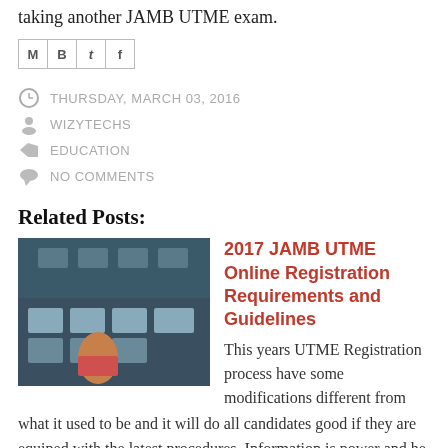taking another JAMB UTME exam.
[Figure (other): Social sharing icons: Email (M), Blogger (B), Twitter (t), Facebook (f)]
THURSDAY, MARCH 03, 2016
WIZYTECHS
EDUCATION
NO COMMENTS
Related Posts:
[Figure (photo): Thumbnail photo of students in a computer lab taking an exam]
2017 JAMB UTME Online Registration Requirements and Guidelines
This years UTME Registration process have some modifications different from what it used to be and it will do all candidates good if they are equiped with the latest procedures. Information is power and he who is not informed...
Read More